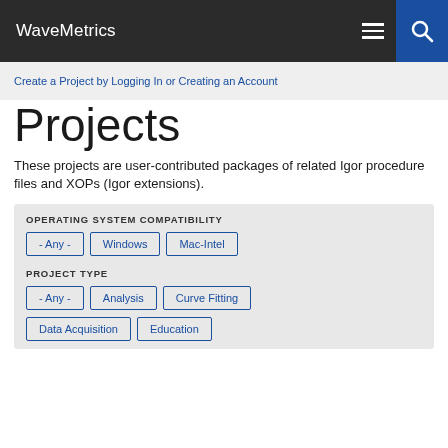WaveMetrics
Create a Project by Logging In or Creating an Account
Projects
These projects are user-contributed packages of related Igor procedure files and XOPs (Igor extensions).
OPERATING SYSTEM COMPATIBILITY
- Any -
Windows
Mac-Intel
PROJECT TYPE
- Any -
Analysis
Curve Fitting
Data Acquisition
Education